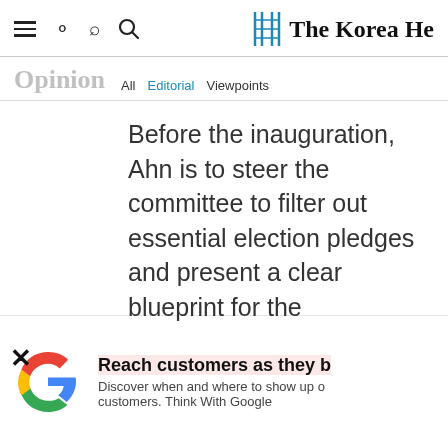The Korea Herald — Opinion | All | Editorial | Viewpoints
Before the inauguration, Ahn is to steer the committee to filter out essential election pledges and present a clear blueprint for the
[Figure (logo): Google logo (G icon) in red, yellow, green, blue colors]
Reach customers as they b — Discover when and where to show up o customers. Think With Google